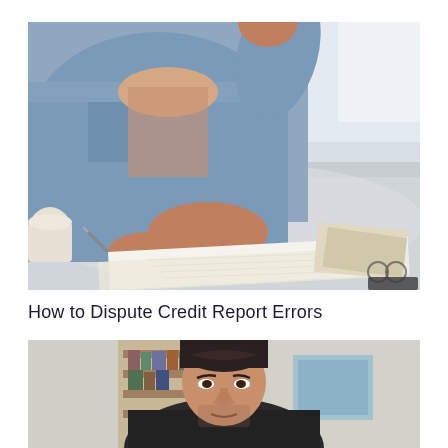[Figure (photo): A woman in a denim jacket writing on paper documents at a table, with a coffee cup on the left and papers/glasses on the right. Shot from above/side angle showing hands writing.]
How to Dispute Credit Report Errors
[Figure (photo): A young man with dark hair looking down, in a dark top, with bookshelves and a blue canvas visible in the background.]